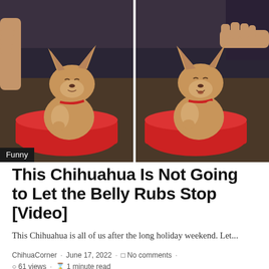[Figure (photo): Two side-by-side video stills of a Chihuahua dog sitting in a red bowl/container. In the left frame the dog has eyes closed contentedly; in the right frame someone's hand is reaching toward the dog. A 'Funny' category badge is overlaid at the bottom left.]
This Chihuahua Is Not Going to Let the Belly Rubs Stop [Video]
This Chihuahua is all of us after the long holiday weekend. Let...
ChihuaCorner · June 17, 2022 · No comments · 61 views · 1 minute read